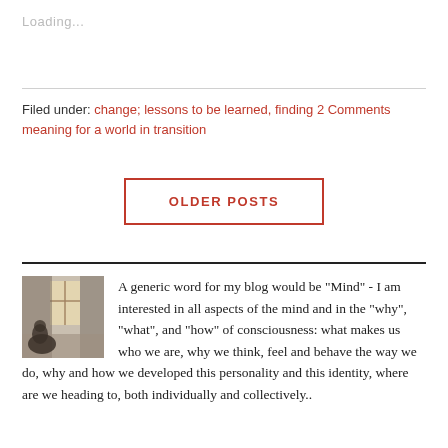Loading...
Filed under: change; lessons to be learned, finding meaning for a world in transition 2 Comments
OLDER POSTS
[Figure (photo): A person sitting near a window in a dim room, viewed from behind]
A generic word for my blog would be "Mind" - I am interested in all aspects of the mind and in the "why", "what", and "how" of consciousness: what makes us who we are, why we think, feel and behave the way we do, why and how we developed this personality and this identity, where are we heading to, both individually and collectively..